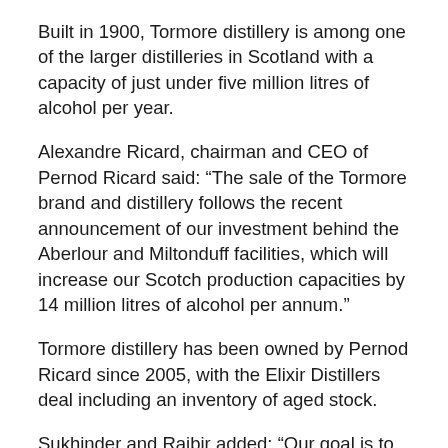Built in 1900, Tormore distillery is among one of the larger distilleries in Scotland with a capacity of just under five million litres of alcohol per year.
Alexandre Ricard, chairman and CEO of Pernod Ricard said: “The sale of the Tormore brand and distillery follows the recent announcement of our investment behind the Aberlour and Miltonduff facilities, which will increase our Scotch production capacities by 14 million litres of alcohol per annum.”
Tormore distillery has been owned by Pernod Ricard since 2005, with the Elixir Distillers deal including an inventory of aged stock.
Sukhinder and Rajbir added: “Our goal is to establish the reputation of Tormore on the global stage to match the special quality of the whisky. We want Tormore to stand shoulder to shoulder alongside the biggest names in single malt whisky and we plan to release a brand range